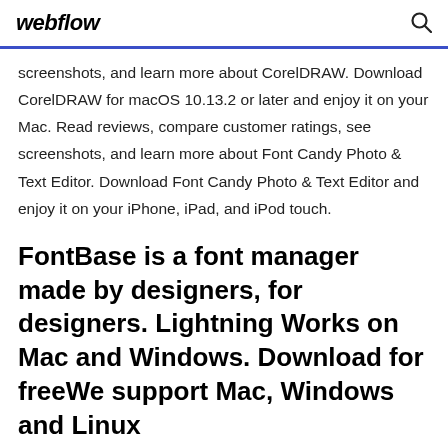webflow
screenshots, and learn more about CorelDRAW. Download CorelDRAW for macOS 10.13.2 or later and enjoy it on your Mac. Read reviews, compare customer ratings, see screenshots, and learn more about Font Candy Photo & Text Editor. Download Font Candy Photo & Text Editor and enjoy it on your iPhone, iPad, and iPod touch.
FontBase is a font manager made by designers, for designers. Lightning Works on Mac and Windows. Download for freeWe support Mac, Windows and Linux